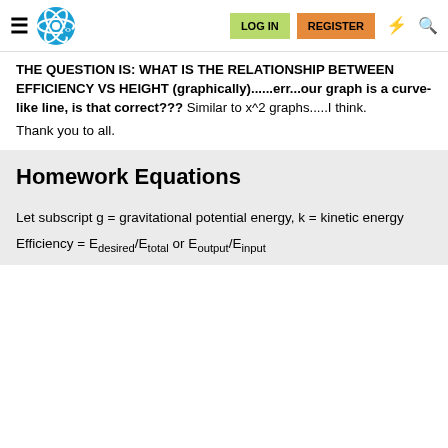LOG IN  REGISTER
THE QUESTION IS: WHAT IS THE RELATIONSHIP BETWEEN EFFICIENCY VS HEIGHT (graphically)......err...our graph is a curve-like line, is that correct??? Similar to x^2 graphs.....I think.

Thank you to all.
Homework Equations
Let subscript g = gravitational potential energy, k = kinetic energy

Efficiency = Edesired/Etotal or Eoutput/Einput